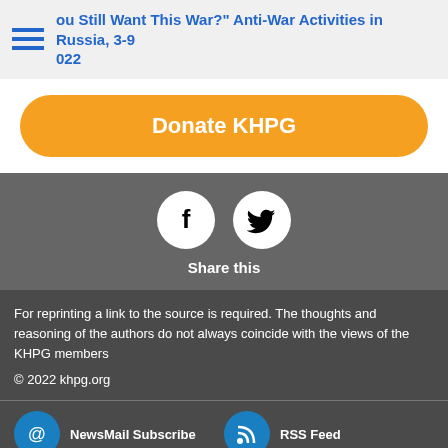ou Still Want This War?" Anti-War Activities in Russia, 3-9 022
Donate KHPG
[Figure (infographic): Social share icons: Facebook and Twitter circles, with 'Share this' label below]
For reprinting a link to the source is required. The thoughts and reasoning of the authors do not always coincide with the views of the KHPG members
© 2022 khpg.org
NewsMail Subscribe
RSS Feed
The mode of saving Internet traffic by reducing the size of images
Contrasting design theme (visually impaired)